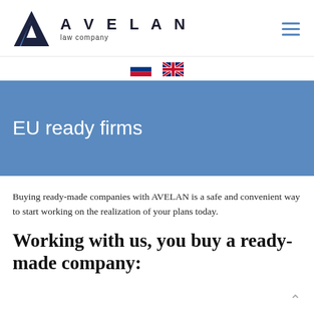[Figure (logo): AVELAN law company logo with geometric A mark in dark navy and blue]
[Figure (illustration): Russian flag and UK/British flag icons for language selection]
EU ready firms
Buying ready-made companies with AVELAN is a safe and convenient way to start working on the realization of your plans today.
Working with us, you buy a ready-made company: